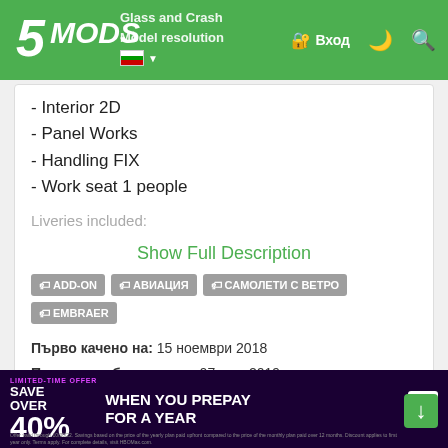5MODS — Glass and Crash, Model resolution, Interior 2D — Вход
- Interior 2D
- Panel Works
- Handling FIX
- Work seat 1 people
Liveries included:
Show Full Description
ADD-ON  АВИАЦИЯ  САМОЛЕТИ С ВЕТРО  EMBRAER
Първо качено на: 15 ноември 2018
Последно обновено на: 07 юни 2019
Последно изтеглено: преди 23 часа
All Versions
[Figure (screenshot): HBO Max advertisement banner: Save over 40% when you prepay for a year. Limited-time offer.]